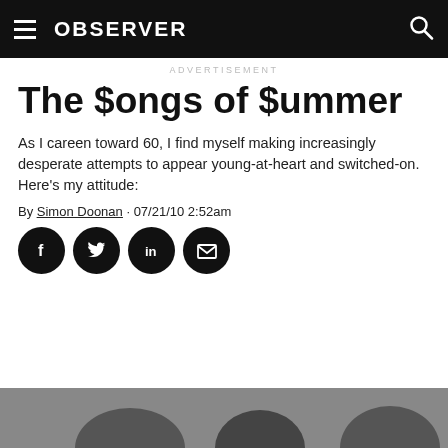OBSERVER
ADVERTISEMENT
The $ongs of $ummer
As I careen toward 60, I find myself making increasingly desperate attempts to appear young-at-heart and switched-on. Here's my attitude:
By Simon Doonan · 07/21/10 2:52am
[Figure (other): Social sharing icons: Facebook, Twitter, LinkedIn, Email — black circles with white icons]
[Figure (photo): Black and white photo of people at the bottom of the page, partially visible]